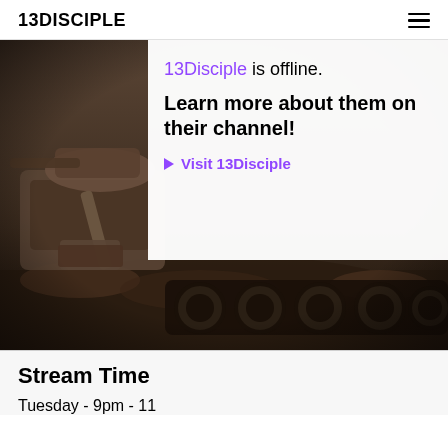13DISCIPLE
[Figure (photo): A military tank/armored vehicle partially buried or moving through muddy terrain, shown in sepia/dark tones. An overlay card reads: '13Disciple is offline. Learn more about them on their channel! ▶ Visit 13Disciple']
Stream Time
Tuesday - 9pm - 11